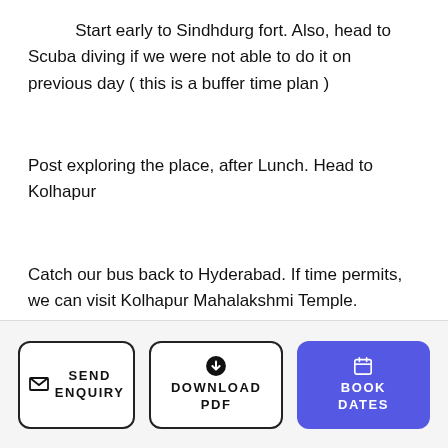Start early to Sindhdurg fort. Also, head to Scuba diving if we were not able to do it on previous day ( this is a buffer time plan )
Post exploring the place, after Lunch. Head to Kolhapur
Catch our bus back to Hyderabad. If time permits, we can visit Kolhapur Mahalakshmi Temple.